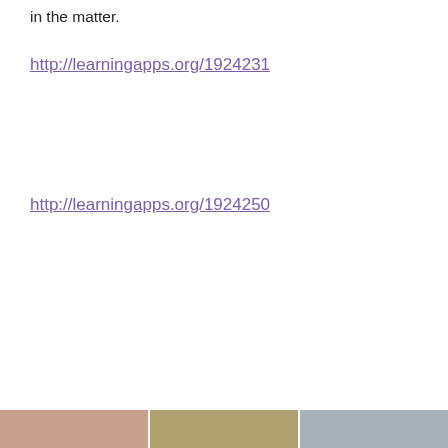in the matter.
http://learningapps.org/1924231
http://learningapps.org/1924250
Privacy & Cookies: This site uses cookies. By continuing to use this website, you agree to their use.
To find out more, including how to control cookies, see here: Cookie Policy
Close and accept